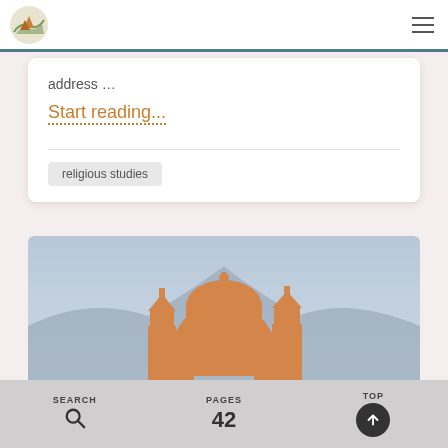address …
Start reading...
religious studies
[Figure (illustration): Silhouette of a cathedral/church with domes and towers in orange, set against a blue-grey mountain background]
SEARCH | PAGES 42 | TOP